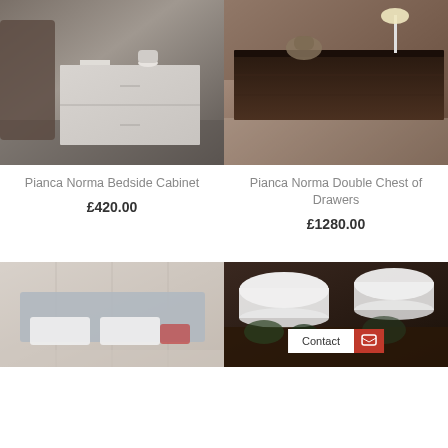[Figure (photo): Pianca Norma Bedside Cabinet product photo - small white/grey two-drawer nightstand in a bedroom setting]
Pianca Norma Bedside Cabinet
£420.00
[Figure (photo): Pianca Norma Double Chest of Drawers product photo - dark brown wide chest of drawers with lamp on top]
Pianca Norma Double Chest of Drawers
£1280.00
[Figure (photo): Bedroom with light grey upholstered bed and wooden wall panels]
[Figure (photo): Lighting showroom with pendant lamps and plants, with Contact button overlay]